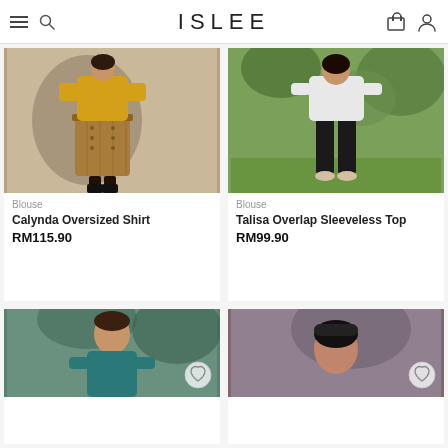ISLEE
[Figure (photo): Fashion product photo: woman wearing yellow blouse with brown midi skirt and black boots, studio shot with shadow]
Blouse
Calynda Oversized Shirt
RM115.90
[Figure (photo): Fashion product photo: woman from behind wearing white top and black cropped trousers with white heels, outdoor greenery setting]
Blouse
Talisa Overlap Sleeveless Top
RM99.90
[Figure (photo): Fashion product photo: woman wearing teal top, outdoor setting with trees, partial view]
[Figure (photo): Fashion product photo: woman's face partially visible, dark hair and accessory, partial view]